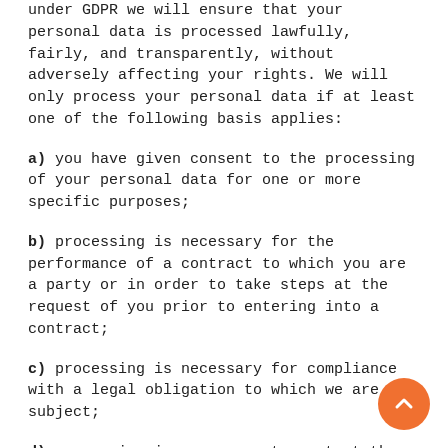3.3 Under GDPR we will ensure that your personal data is processed lawfully, fairly, and transparently, without adversely affecting your rights. We will only process your personal data if at least one of the following basis applies:
a) you have given consent to the processing of your personal data for one or more specific purposes;
b) processing is necessary for the performance of a contract to which you are a party or in order to take steps at the request of you prior to entering into a contract;
c) processing is necessary for compliance with a legal obligation to which we are subject;
d) processing is necessary to protect the vital interests of you or of another natural person;